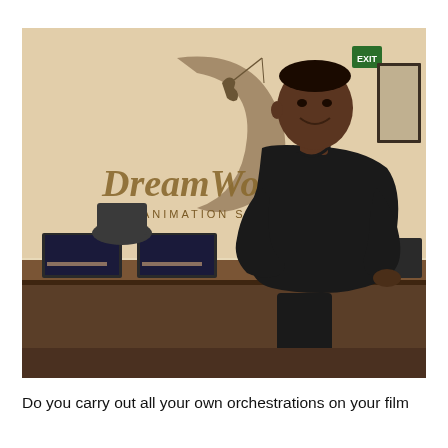[Figure (photo): A man in a black long-sleeve shirt standing in front of the DreamWorks Animation SKG reception desk and logo. The DreamWorks logo features a boy fishing on a crescent moon. The reception desk is dark wood with monitors on it.]
Do you carry out all your own orchestrations on your film